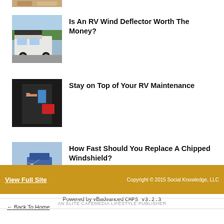[Figure (photo): Partial thumbnail image at top of list]
[Figure (photo): RV with wind deflector on top driving on road]
Is An RV Wind Deflector Worth The Money?
[Figure (photo): Person performing RV maintenance, holding device]
Stay on Top of Your RV Maintenance
[Figure (photo): Chipped windshield with truck in background]
How Fast Should You Replace A Chipped Windshield?
Powered by vBadvanced CMPS v3.2.3
← Back To Home
View Full Site
Copyright © 2015 Social Knowledge, LLC
AN ELITE CAFEMEDIA LIFESTYLE PUBLISHER